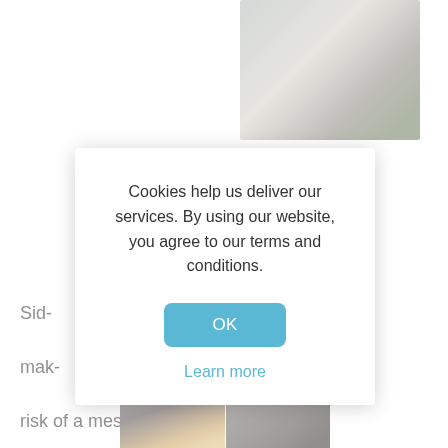[Figure (photo): Partial view of a furniture/living room scene, top right of page]
Side... mak... the risk of a messy spill in the living room.
[Figure (photo): Two furniture product images at bottom: a dark wood side table with drawer and cabinet, and a close-up of a tray with circular cup holders]
Cookies help us deliver our services. By using our website, you agree to our terms and conditions.
OK
Learn more